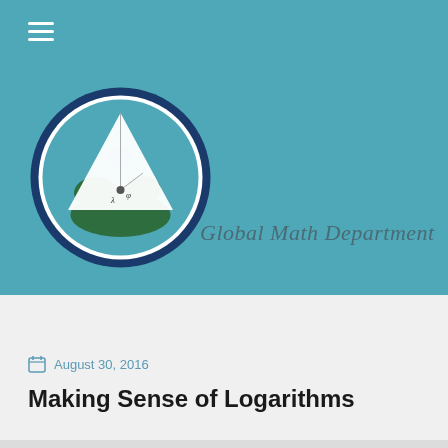[Figure (logo): Global Math Department logo: a circle showing a globe with a geometric white triangular/conical shape overlaid, set in a dark blue circular border]
Global Math Department
August 30, 2016
Making Sense of Logarithms